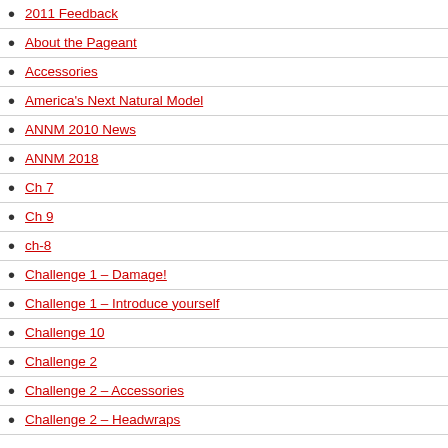2011 Feedback
About the Pageant
Accessories
America's Next Natural Model
ANNM 2010 News
ANNM 2018
Ch 7
Ch 9
ch-8
Challenge 1 – Damage!
Challenge 1 – Introduce yourself
Challenge 10
Challenge 2
Challenge 2 – Accessories
Challenge 2 – Headwraps